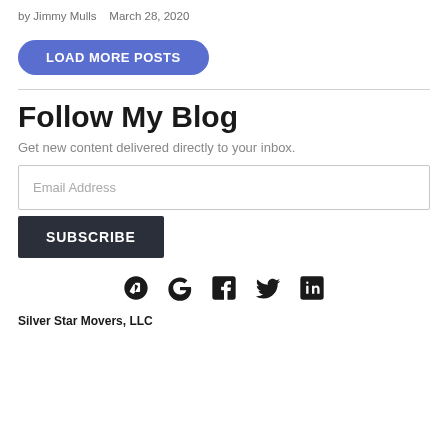by Jimmy Mulls   March 28, 2020
LOAD MORE POSTS
Follow My Blog
Get new content delivered directly to your inbox.
Email Address
SUBSCRIBE
[Figure (illustration): Social media icons row: Yelp, Google, Facebook, Twitter, LinkedIn]
Silver Star Movers, LLC